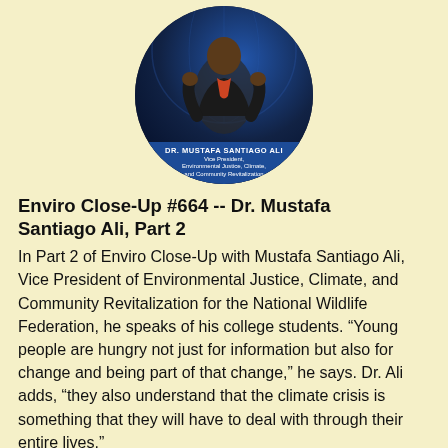[Figure (photo): Circular portrait photo of Dr. Mustafa Santiago Ali in a dark suit, with a globe/earth background. Label at bottom reads: DR. MUSTAFA SANTIAGO ALI, Vice President, Environmental Justice, Climate, and Community Revitalization]
Enviro Close-Up #664 -- Dr. Mustafa Santiago Ali, Part 2
In Part 2 of Enviro Close-Up with Mustafa Santiago Ali, Vice President of Environmental Justice, Climate, and Community Revitalization for the National Wildlife Federation, he speaks of his college students. “Young people are hungry not just for information but also for change and being part of that change,” he says. Dr. Ali adds, “they also understand that the climate crisis is something that they will have to deal with through their entire lives.”